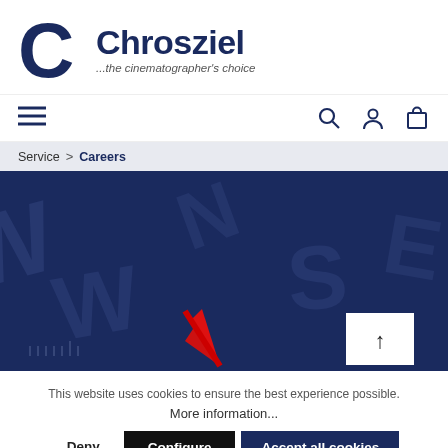[Figure (logo): Chrosziel logo with large dark blue C letter and brand name 'Chrosziel' with tagline '...the cinematographer's choice']
navigation bar with hamburger menu and icons for search, user, and cart
Service > Careers
[Figure (photo): Close-up of a compass with red needle on dark navy blue background with stylized letter markings]
This website uses cookies to ensure the best experience possible. More information...
Deny | Configure | Accept all cookies